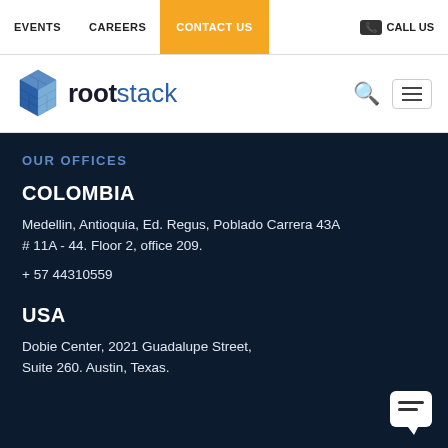EVENTS   CAREERS   CONTACT US   CALL US
[Figure (logo): Rootstack logo with cube icon and text]
OUR OFFICES
COLOMBIA
Medellin, Antioquia, Ed. Regus, Poblado Carrera 43A # 11A - 44. Floor 2, office 209.
+ 57 44310559
USA
Dobie Center, 2021 Guadalupe Street, Suite 260. Austin, Texas.